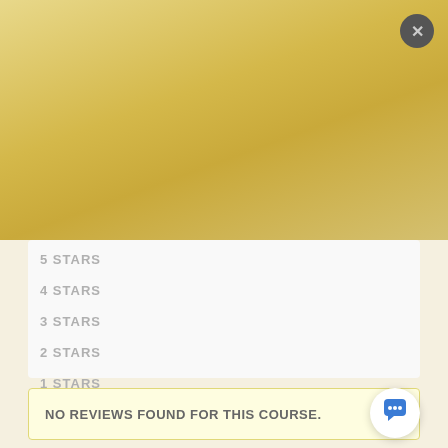ANY COURSE FOR £9.99
🔥 Autumn SALE 🏷
Use Coupon ⭐
JHN9
5 STARS
4 STARS
3 STARS
2 STARS
1 STARS
NO REVIEWS FOUND FOR THIS COURSE.